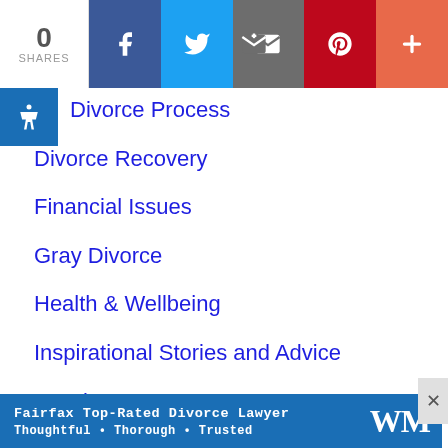[Figure (screenshot): Social share bar with 0 shares count, Facebook, Twitter, Email, Pinterest, and More (+) buttons]
Divorce Process
Divorce Recovery
Financial Issues
Gray Divorce
Health & Wellbeing
Inspirational Stories and Advice
Legal Issues
Life After Divorce
PODCASTS
Preparing for Divorce
Relatio
[Figure (screenshot): Advertisement banner: Fairfax Top-Rated Divorce Lawyer — Thoughtful · Thorough · Trusted with WM logo]